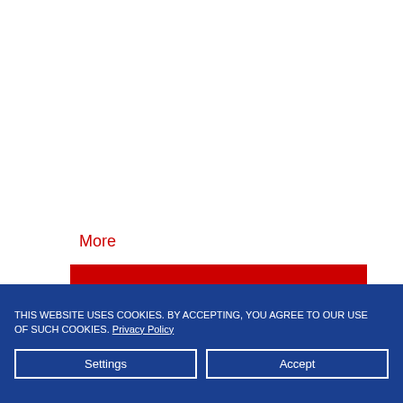More
[Figure (screenshot): Red banner with text 'Everybody Knows' on a red background]
THIS WEBSITE USES COOKIES. BY ACCEPTING, YOU AGREE TO OUR USE OF SUCH COOKIES. Privacy Policy
Settings
Accept